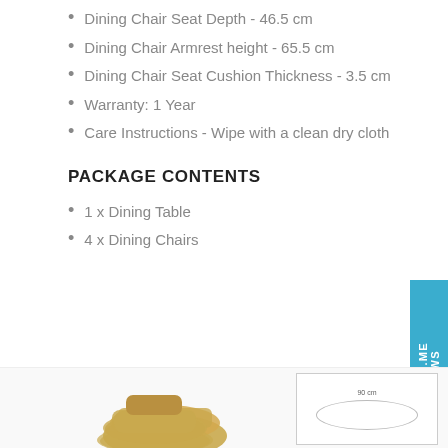Dining Chair Seat Depth - 46.5 cm
Dining Chair Armrest height - 65.5 cm
Dining Chair Seat Cushion Thickness - 3.5 cm
Warranty: 1 Year
Care Instructions - Wipe with a clean dry cloth
PACKAGE CONTENTS
1 x Dining Table
4 x Dining Chairs
[Figure (photo): Bottom portion showing a gold/mustard dining chair on the left and a dimensional diagram of a table (90 cm label) on the right with an oval top view]